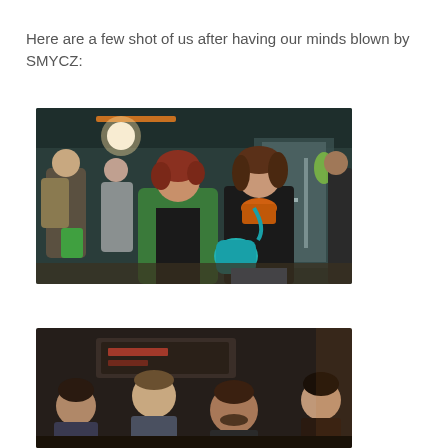Here are a few shot of us after having our minds blown by SMYCZ:
[Figure (photo): Indoor photo of group of people in a dim venue. Two women in the foreground: one in a green jacket holding a camera, another in a black jacket with an orange scarf and teal handbag. Several people visible in the background near doors.]
[Figure (photo): Indoor photo of group of people including a young man on the left, a man with short hair in the center-left, a man with facial hair in the center, and a woman on the right, all in a dimly lit venue.]